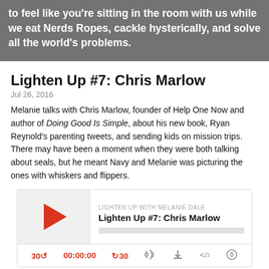to feel like you're sitting in the room with us while we eat Nerds Ropes, cackle hysterically, and solve all the world's problems.
Lighten Up #7: Chris Marlow
Jul 26, 2016
Melanie talks with Chris Marlow, founder of Help One Now and author of Doing Good Is Simple, about his new book, Ryan Reynold's parenting tweets, and sending kids on mission trips. There may have been a moment when they were both talking about seals, but he meant Navy and Melanie was picturing the ones with whiskers and flippers.
[Figure (other): Podcast player widget for Lighten Up #7: Chris Marlow with play button, progress bar, and controls]
Download this Episode
Lighten Up #6: Steer Jones